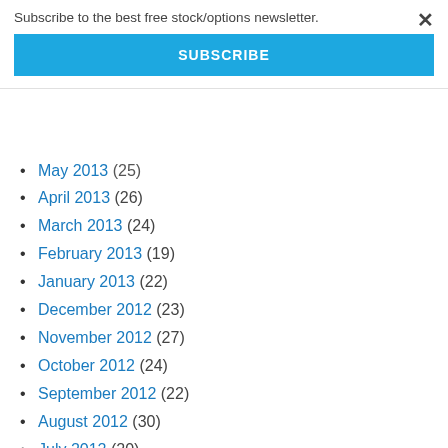Subscribe to the best free stock/options newsletter.
SUBSCRIBE
May 2013 (25)
April 2013 (26)
March 2013 (24)
February 2013 (19)
January 2013 (22)
December 2012 (23)
November 2012 (27)
October 2012 (24)
September 2012 (22)
August 2012 (30)
July 2012 (20)
June 2012 (22)